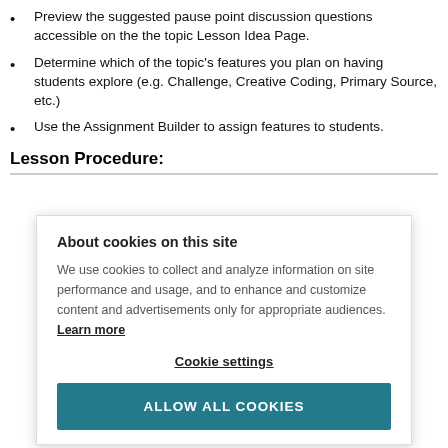Preview the suggested pause point discussion questions accessible on the the topic Lesson Idea Page.
Determine which of the topic's features you plan on having students explore (e.g. Challenge, Creative Coding, Primary Source, etc.)
Use the Assignment Builder to assign features to students.
Lesson Procedure:
About cookies on this site
We use cookies to collect and analyze information on site performance and usage, and to enhance and customize content and advertisements only for appropriate audiences. Learn more
Cookie settings
ALLOW ALL COOKIES